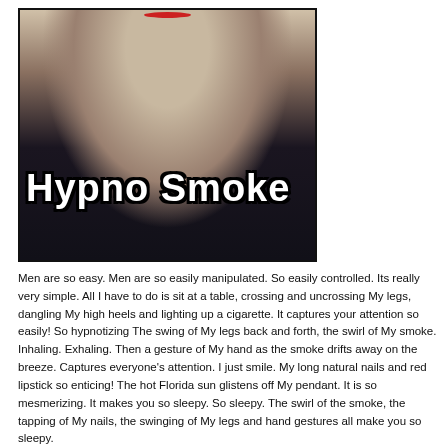[Figure (photo): Photo of a woman in a black leather halter top holding a cigarette, with text overlay reading 'Hypno Smoke' in bold white Impact font with black outline. A pineapple is visible in the background to the right.]
Men are so easy. Men are so easily manipulated. So easily controlled. Its really very simple. All I have to do is sit at a table, crossing and uncrossing My legs, dangling My high heels and lighting up a cigarette. It captures your attention so easily! So hypnotizing The swing of My legs back and forth, the swirl of My smoke. Inhaling. Exhaling. Then a gesture of My hand as the smoke drifts away on the breeze. Captures everyone's attention. I just smile. My long natural nails and red lipstick so enticing! The hot Florida sun glistens off My pendant. It is so mesmerizing. It makes you so sleepy. So sleepy. The swirl of the smoke, the tapping of My nails, the swinging of My legs and hand gestures all make you so sleepy.